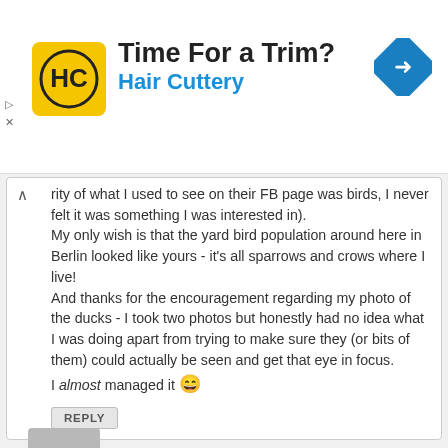[Figure (screenshot): Hair Cuttery advertisement banner with logo, 'Time For a Trim?' headline, and navigation arrow icon]
rity of what I used to see on their FB page was birds, I never felt it was something I was interested in).
My only wish is that the yard bird population around here in Berlin looked like yours - it's all sparrows and crows where I live!
And thanks for the encouragement regarding my photo of the ducks - I took two photos but honestly had no idea what I was doing apart from trying to make sure they (or bits of them) could actually be seen and get that eye in focus.
I almost managed it 😄
REPLY
«« Prev Page 81 of 85 Next »»
Reply to Thread